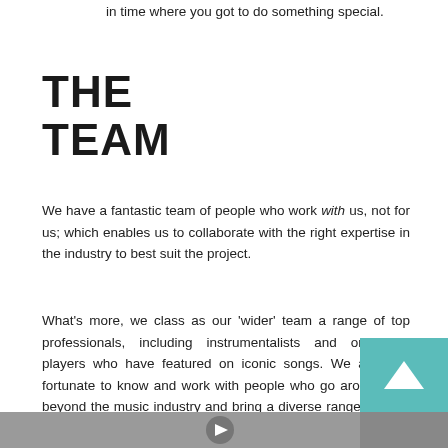in time where you got to do something special.
THE TEAM
We have a fantastic team of people who work with us, not for us; which enables us to collaborate with the right expertise in the industry to best suit the project.
What's more, we class as our 'wider' team a range of top professionals, including instrumentalists and orchestral players who have featured on iconic songs. We are also fortunate to know and work with people who go around and beyond the music industry and bring a diverse range of skills and expertise, such as stage lighting, photography and videography.
[Figure (photo): Partially visible image at the bottom of the page with a grey background and a circular play button icon. A teal box with an upward arrow overlaps the right side.]